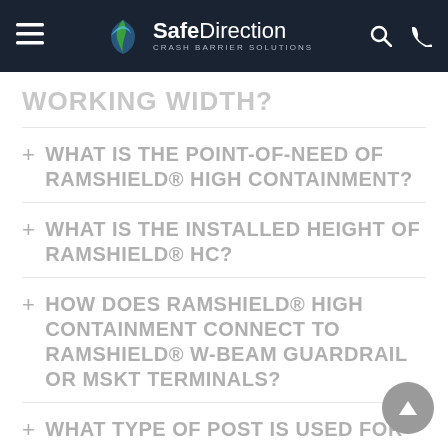SafeDirection CRASH BARRIER SOLUTIONS
WORKING WIDTH?
+ WHAT IS THE POINT-OF-NEED OF RAMSHIELD® HIGH CONTAINMENT?
+ WHAT IS THE INSTALLED HEIGHT OF RAMSHIELD® HC?
+ HOW DOES RAMSHIELD® HIGH CONTAINMENT CONNECT TO RAMSHIELD® W-BEAM GUARDRAIL OR MSKT TERMINALS?
+ WHAT TYPE OF POST IS USED FOR